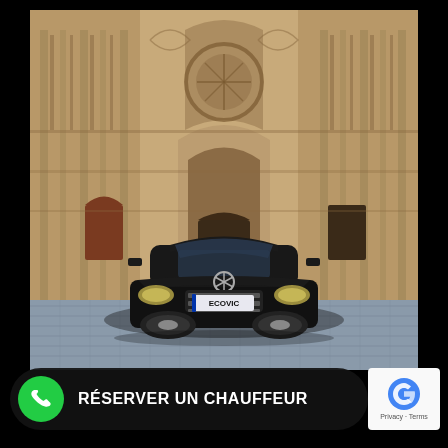[Figure (photo): A black Mercedes-Benz sedan (license plate ECOVIC) parked in front of a large Gothic cathedral (Strasbourg Cathedral), on a cobblestone plaza. The car faces the camera directly.]
RÉSERVER UN CHAUFFEUR
[Figure (logo): reCAPTCHA badge with Google branding, showing Privacy and Terms text]